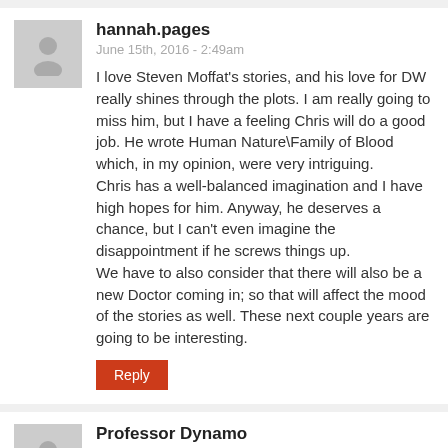hannah.pages
June 15th, 2016 - 2:49am
I love Steven Moffat's stories, and his love for DW really shines through the plots. I am really going to miss him, but I have a feeling Chris will do a good job. He wrote Human Nature\Family of Blood which, in my opinion, were very intriguing.
Chris has a well-balanced imagination and I have high hopes for him. Anyway, he deserves a chance, but I can't even imagine the disappointment if he screws things up.
We have to also consider that there will also be a new Doctor coming in; so that will affect the mood of the stories as well. These next couple years are going to be interesting.
Professor Dynamo
March 16th, 2016 - 6:27pm
I think this is a terrible idea and if Steven Moffat steps down I will feel like Doctor Who has become extinct and that they replaced it with a show from the 1700's.